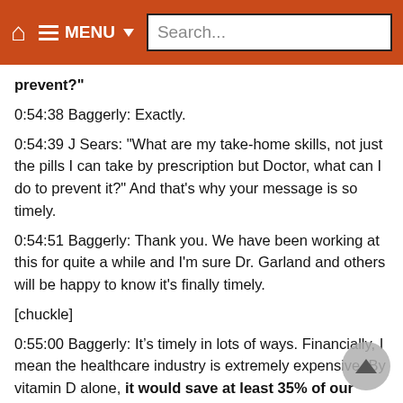Home | Menu | Search...
prevent?"
0:54:38 Baggerly: Exactly.
0:54:39 J Sears: "What are my take-home skills, not just the pills I can take by prescription but Doctor, what can I do to prevent it?" And that's why your message is so timely.
0:54:51 Baggerly: Thank you. We have been working at this for quite a while and I'm sure Dr. Garland and others will be happy to know it's finally timely.
[chuckle]
0:55:00 Baggerly: It’s timely in lots of ways. Financially, I mean the healthcare industry is extremely expensive. By vitamin D alone, it would save at least 35% of our entire medical costs in the nation.
0:55:12 J Sears: 35%?
0:55:13 Baggerly: 35% with nothing more than vitamin D.